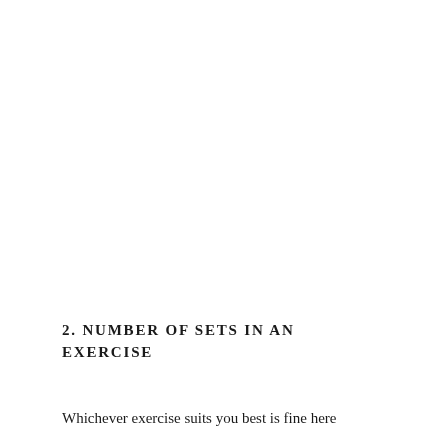2. NUMBER OF SETS IN AN EXERCISE
Whichever exercise suits you best is fine here